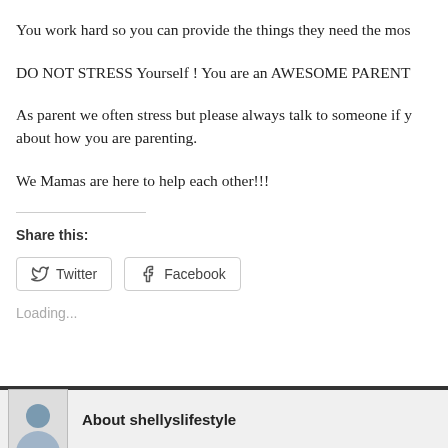You work hard so you can provide the things they need the most
DO NOT STRESS Yourself ! You are an AWESOME PARENT
As parent we often stress but please always talk to someone if you feel anxious about how you are parenting.
We Mamas are here to help each other!!!
Share this:
Twitter
Facebook
Loading...
About shellyslifestyle